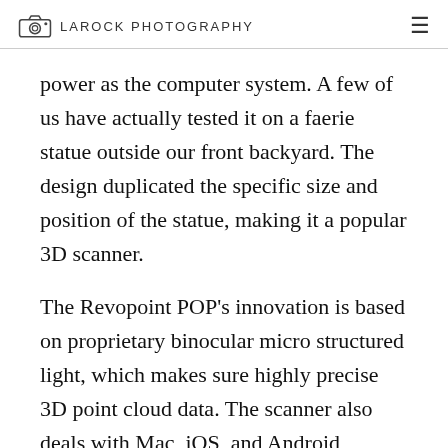LAROCK PHOTOGRAPHY
power as the computer system. A few of us have actually tested it on a faerie statue outside our front backyard. The design duplicated the specific size and position of the statue, making it a popular 3D scanner.
The Revopoint POP's innovation is based on proprietary binocular micro structured light, which makes sure highly precise 3D point cloud data. The scanner also deals with Mac, iOS, and Android running systems. It works with the 4 major os: Mac,